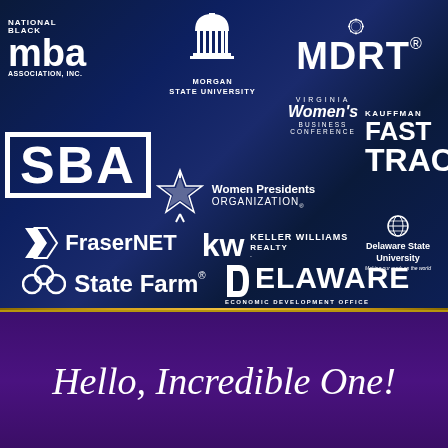[Figure (illustration): Dark navy blue satin/fabric background with multiple partner organization logos arranged in a grid: National Black MBA Association Inc., Morgan State University, MDRT, Virginia Women's Business Conference, Kauffman FastTrac, SBA, Women Presidents Organization, FraserNET, Keller Williams Realty, Delaware State University, State Farm, Delaware Economic Development Office]
Hello, Incredible One!